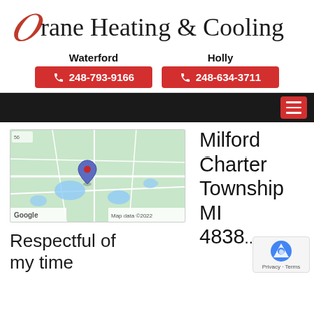[Figure (logo): Krane Heating & Cooling logo with decorative red K and serif text]
Waterford
📞 248-793-9166
Holly
📞 248-634-3711
[Figure (screenshot): Navigation bar with hamburger menu button on dark background]
[Figure (map): Google Maps screenshot showing Milford Charter Township area with a red pin marker. Map data ©2022]
Milford Charter Township MI 4838...
Respectful of my time